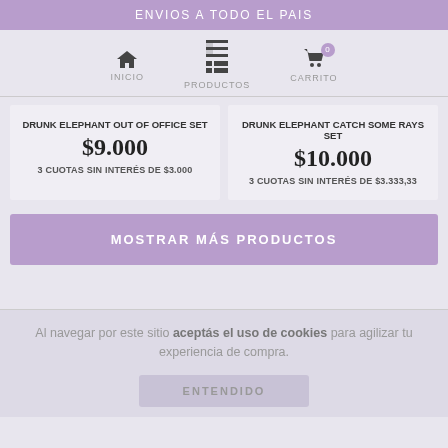ENVIOS A TODO EL PAIS
INICIO | PRODUCTOS | CARRITO
DRUNK ELEPHANT OUT OF OFFICE SET
$9.000
3 CUOTAS SIN INTERÉS DE $3.000
DRUNK ELEPHANT CATCH SOME RAYS SET
$10.000
3 CUOTAS SIN INTERÉS DE $3.333,33
MOSTRAR MÁS PRODUCTOS
Al navegar por este sitio aceptás el uso de cookies para agilizar tu experiencia de compra.
ENTENDIDO